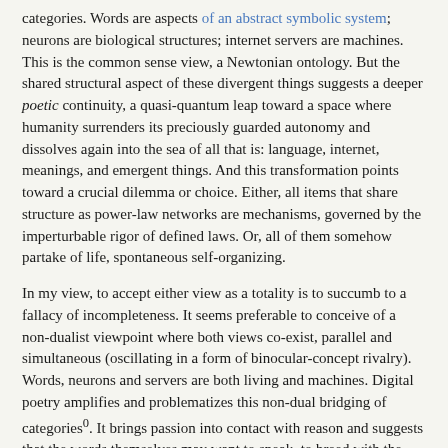categories. Words are aspects of an abstract symbolic system; neurons are biological structures; internet servers are machines. This is the common sense view, a Newtonian ontology. But the shared structural aspect of these divergent things suggests a deeper poetic continuity, a quasi-quantum leap toward a space where humanity surrenders its preciously guarded autonomy and dissolves again into the sea of all that is: language, internet, meanings, and emergent things. And this transformation points toward a crucial dilemma or choice. Either, all items that share structure as power-law networks are mechanisms, governed by the imperturbable rigor of defined laws. Or, all of them somehow partake of life, spontaneous self-organizing.
In my view, to accept either view as a totality is to succumb to a fallacy of incompleteness. It seems preferable to conceive of a non-dualist viewpoint where both views co-exist, parallel and simultaneous (oscillating in a form of binocular-concept rivalry). Words, neurons and servers are both living and machines. Digital poetry amplifies and problematizes this non-dual bridging of categories⁰. It brings passion into contact with reason and suggests that the words themselves may want to speak, to breed with the ambient fullness of images, to contort on the writhing waveforms of sound, and to react as responsive creatures: reactive, complete and evolving.